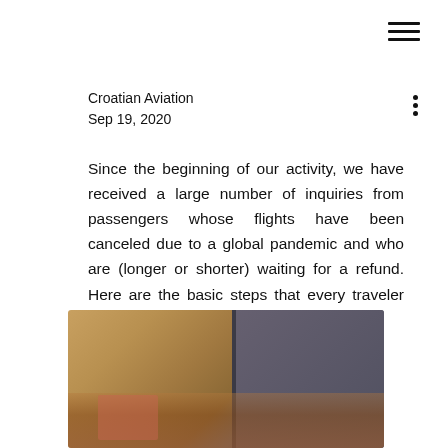Croatian Aviation
Sep 19, 2020
Since the beginning of our activity, we have received a large number of inquiries from passengers whose flights have been canceled due to a global pandemic and who are (longer or shorter) waiting for a refund. Here are the basic steps that every traveler should take.
[Figure (photo): Blurred photograph showing what appears to be an airport or travel scene with warm amber/brown tones on the left side and darker blue-gray tones on the right side, likely showing luggage or travelers.]